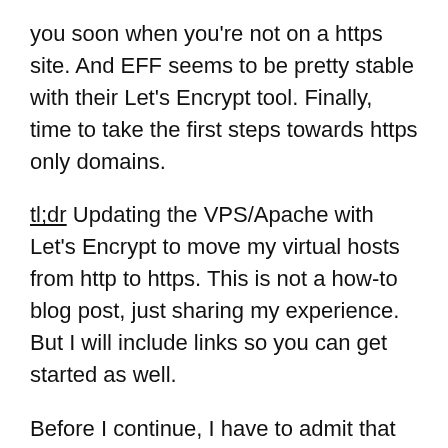you soon when you're not on a https site. And EFF seems to be pretty stable with their Let's Encrypt tool. Finally, time to take the first steps towards https only domains.
tl;dr Updating the VPS/Apache with Let's Encrypt to move my virtual hosts from http to https. This is not a how-to blog post, just sharing my experience. But I will include links so you can get started as well.
Before I continue, I have to admit that from the few sites on this VPS, only one is public. The others are under development at the moment (#soon) and behind closed doors. I have some wiggle room when it comes to things going wrong.